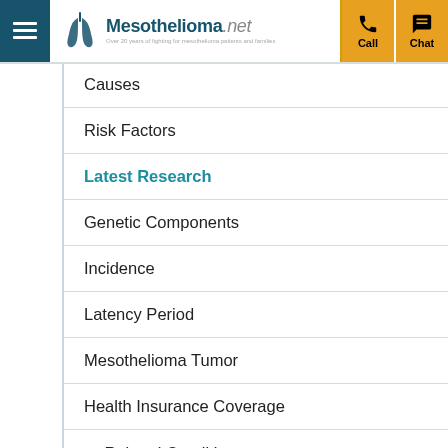Mesothelioma.net
Causes
Risk Factors
Latest Research
Genetic Components
Incidence
Latency Period
Mesothelioma Tumor
Health Insurance Coverage
+ Related Conditions
Prevention
Complications